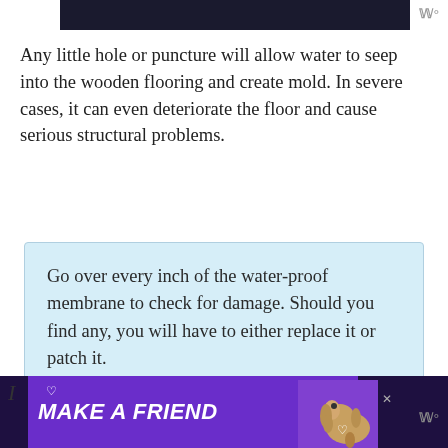[Figure (screenshot): Dark banner image at top of page]
Any little hole or puncture will allow water to seep into the wooden flooring and create mold. In severe cases, it can even deteriorate the floor and cause serious structural problems.
Go over every inch of the water-proof membrane to check for damage. Should you find any, you will have to either replace it or patch it.
[Figure (screenshot): Advertisement banner: MAKE A FRIEND with dog image on purple background]